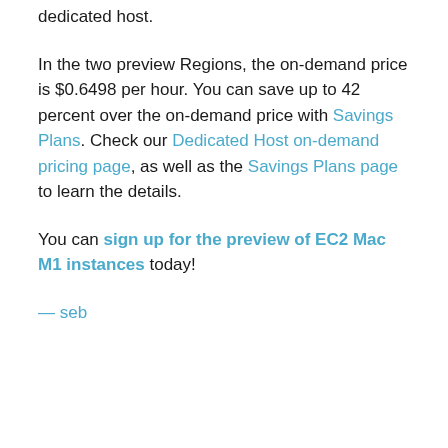dedicated host.
In the two preview Regions, the on-demand price is $0.6498 per hour. You can save up to 42 percent over the on-demand price with Savings Plans. Check our Dedicated Host on-demand pricing page, as well as the Savings Plans page to learn the details.
You can sign up for the preview of EC2 Mac M1 instances today!
— seb